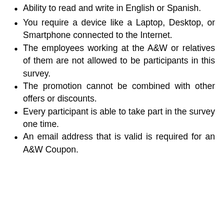Ability to read and write in English or Spanish.
You require a device like a Laptop, Desktop, or Smartphone connected to the Internet.
The employees working at the A&W or relatives of them are not allowed to be participants in this survey.
The promotion cannot be combined with other offers or discounts.
Every participant is able to take part in the survey one time.
An email address that is valid is required for an A&W Coupon.